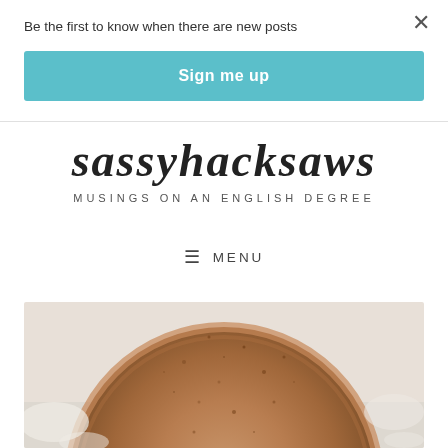Be the first to know when there are new posts
Sign me up
sassyhacksaws
MUSINGS ON AN ENGLISH DEGREE
≡ MENU
[Figure (photo): Close-up photo of a round pie crust with a brown, slightly speckled surface, dusted with flour, on a light background.]